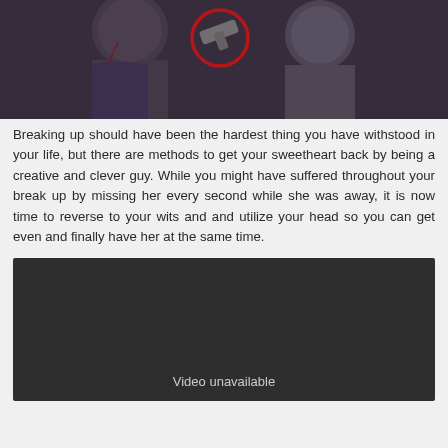[Figure (photo): Two men in a dark scene; a red circle highlights an object between them. One man has blood on his face.]
Breaking up should have been the hardest thing you have withstood in your life, but there are methods to get your sweetheart back by being a creative and clever guy. While you might have suffered throughout your break up by missing her every second while she was away, it is now time to reverse to your wits and and utilize your head so you can get even and finally have her at the same time.
[Figure (screenshot): Video player showing 'Video unavailable' message on a dark background.]